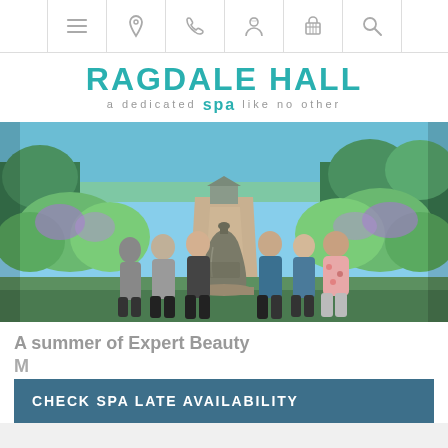Navigation bar with menu, location, phone, account, basket, and search icons
RAGDALE HALL SPA — a dedicated SPA like no other
[Figure (photo): Group of seven spa staff members standing outdoors in a garden with a large bell monument in the centre, surrounded by flowering shrubs and trees under a clear blue sky.]
A summer of Expert Beauty Masterclass
CHECK SPA LATE AVAILABILITY